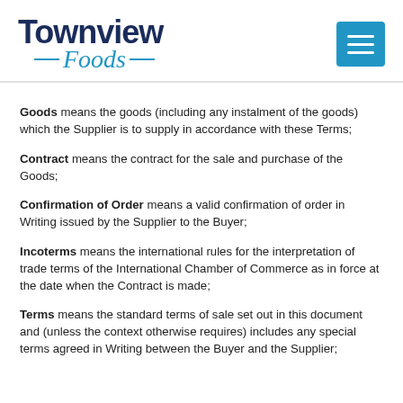[Figure (logo): Townview Foods logo with dark navy 'Townview' text and blue italic 'Foods' text with dashes]
Goods means the goods (including any instalment of the goods) which the Supplier is to supply in accordance with these Terms;
Contract means the contract for the sale and purchase of the Goods;
Confirmation of Order means a valid confirmation of order in Writing issued by the Supplier to the Buyer;
Incoterms means the international rules for the interpretation of trade terms of the International Chamber of Commerce as in force at the date when the Contract is made;
Terms means the standard terms of sale set out in this document and (unless the context otherwise requires) includes any special terms agreed in Writing between the Buyer and the Supplier;